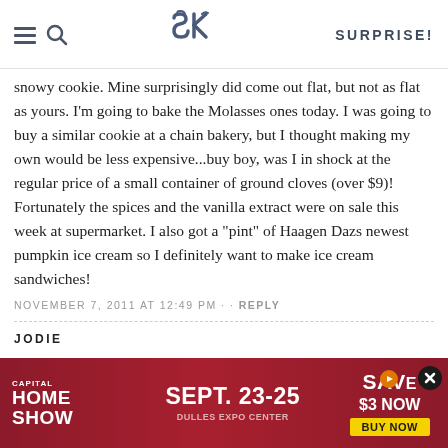SK — SURPRISE!
snowy cookie. Mine surprisingly did come out flat, but not as flat as yours. I'm going to bake the Molasses ones today. I was going to buy a similar cookie at a chain bakery, but I thought making my own would be less expensive...buy boy, was I in shock at the regular price of a small container of ground cloves (over $9)! Fortunately the spices and the vanilla extract were on sale this week at supermarket. I also got a "pint" of Haagen Dazs newest pumpkin ice cream so I definitely want to make ice cream sandwiches!
NOVEMBER 7, 2011 AT 12:49 PM · · REPLY
JODIE
I needed a vanilla flavored cookie for ice cream sandwiches, so I took the chocolate recipe and replaced the 1/2 cup cocoa powder with regular flour and the white sugar with brown. I also added a ... ke the ... f
[Figure (other): Capital Home Show advertisement banner: SEPT. 23-25, DULLES EXPO CENTER, SAVE $3 NOW, BUY NOW button, with close (X) button]